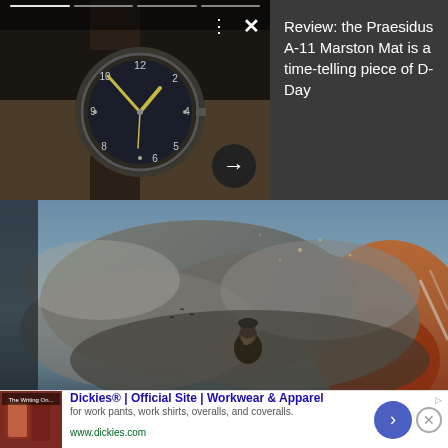[Figure (photo): Close-up photo of a dark military-style wristwatch with black dial, luminous hands, and leather strap, placed on a tan surface. Overlaid with progress bar segments at top, dots and X controls, and a right-arrow button.]
Review: the Praesidus A-11 Marston Mat is a time-telling piece of D-Day
[Figure (photo): Movie or game promotional image showing a soldier figure standing amid dramatic smoke clouds with fire and debris in the background, dark cinematic tone.]
Dickies® | Official Site | Workwear & Apparel
for work pants, work shirts, overalls, and coveralls.
www.dickies.com